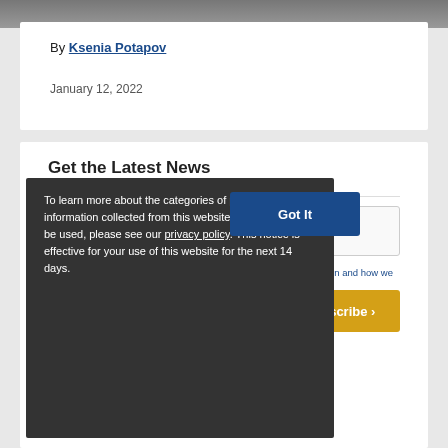[Figure (photo): Grayscale photo strip at top of page showing partial image]
By Ksenia Potapov
January 12, 2022
Get the Latest News
PRIVACY NOTICE: Learn more about why we collect this information and how we use it
To learn more about the categories of personal information collected from this website, and how it will be used, please see our privacy policy. This notice is effective for your use of this website for the next 14 days.
Topics